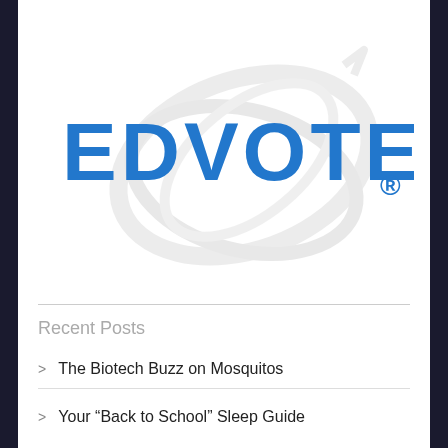[Figure (logo): EDVOTEK logo with blue text 'EDVOTEK' and registered trademark symbol, overlaid on a gray abstract globe/swirl graphic]
Recent Posts
> The Biotech Buzz on Mosquitos
> Your "Back to School" Sleep Guide